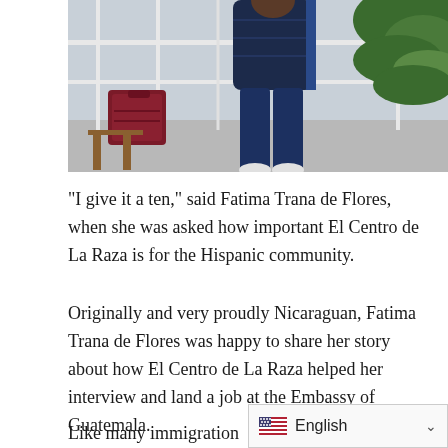[Figure (photo): Person standing outdoors wearing dark blue puffer jacket and jeans, with a burgundy bag on the left and green foliage on the right behind a white railing]
“I give it a ten,” said Fatima Trana de Flores, when she was asked how important El Centro de La Raza is for the Hispanic community.
Originally and very proudly Nicaraguan, Fatima Trana de Flores was happy to share her story about how El Centro de La Raza helped her interview and land a job at the Embassy of Guatemala.
Like many immigration storie… years separated from her hus…